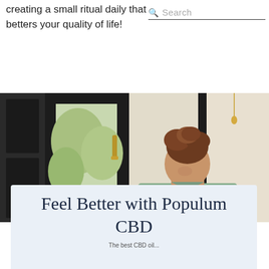creating a small ritual daily that betters your quality of life!
Search
[Figure (photo): Woman with curly hair pulled up, wearing a sage green top, leaning forward near a large dark-framed window with greenery visible outside. Interior scene with natural light.]
Feel Better with Populum CBD
The best CBD oil...